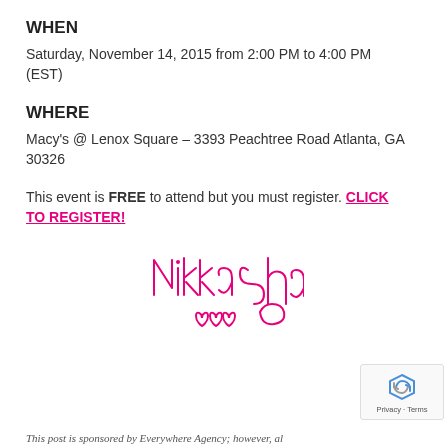WHEN
Saturday, November 14, 2015 from 2:00 PM to 4:00 PM (EST)
WHERE
Macy's @ Lenox Square – 3393 Peachtree Road Atlanta, GA 30326
This event is FREE to attend but you must register. CLICK TO REGISTER!
[Figure (illustration): Handwritten signature in pink ink reading NikkaShae with decorative hearts]
This post is sponsored by Everywhere Agency; however, al…